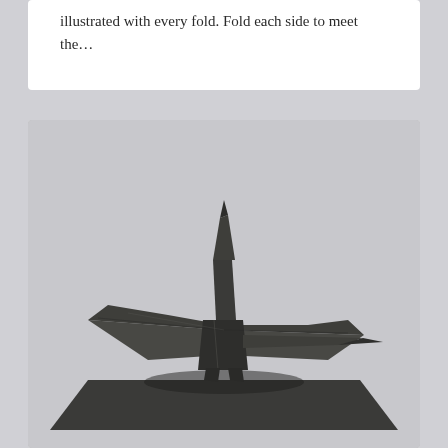illustrated with every fold. Fold each side to meet the…
[Figure (photo): A black origami paper crane resting on a dark square sheet of paper, photographed against a light grey background.]